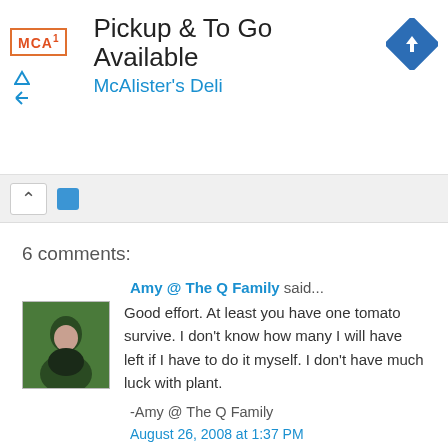[Figure (screenshot): Advertisement banner for McAlister's Deli: logo, headline 'Pickup & To Go Available', subtext 'McAlister's Deli', blue diamond arrow icon]
[Figure (screenshot): Collapsed toolbar with up-arrow button and blue tab element]
6 comments:
Amy @ The Q Family said...
Good effort. At least you have one tomato survive. I don't know how many I will have left if I have to do it myself. I don't have much luck with plant.

-Amy @ The Q Family
August 26, 2008 at 1:37 PM
Anonymous said...
I have never heard of growing tomatoes upside down - the things you learn (I learn) on the internet! I eally like your blog, have bookmarked you, and will be back... and